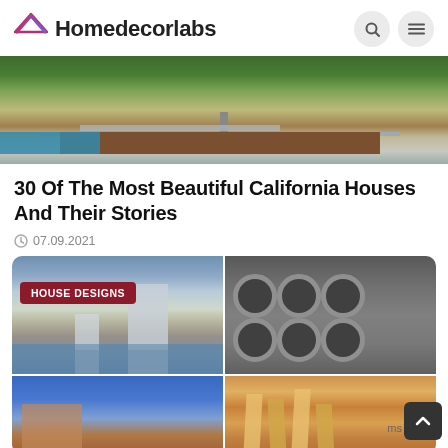Homedecorlabs
[Figure (photo): Aerial/side view of a modern house with flat metal roof, wooden exterior, pool in foreground, surrounded by trees and greenery]
30 Of The Most Beautiful California Houses And Their Stories
07.09.2021
[Figure (photo): Four-panel photo grid: top-left shows waterfront modern buildings, top-right shows building with large circular window openings, bottom-left shows building against blue sky, bottom-right shows gold/beige geometric modern building]
HOUSE DESIGNS